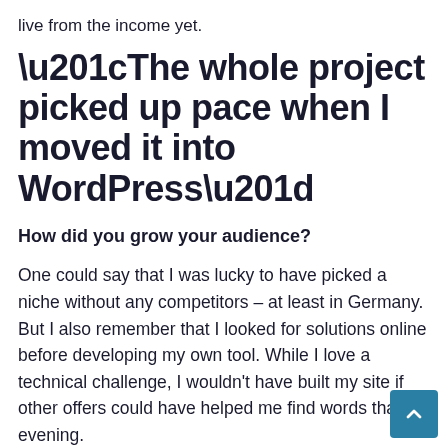live from the income yet.
“The whole project picked up pace when I moved it into WordPress”
How did you grow your audience?
One could say that I was lucky to have picked a niche without any competitors – at least in Germany. But I also remember that I looked for solutions online before developing my own tool. While I love a technical challenge, I wouldn’t have built my site if other offers could have helped me find words that evening.
[Figure (other): Scroll-to-top button: teal/blue rounded square with upward chevron arrow icon, positioned at bottom-right corner of page]